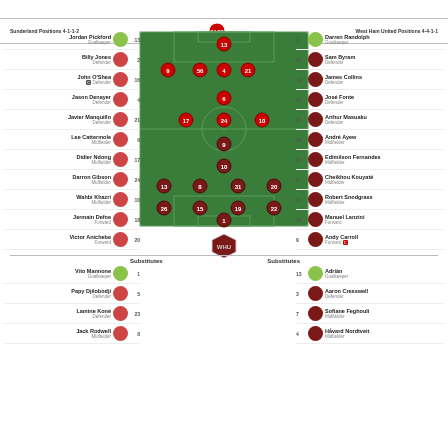Sunderland Positions 4-1-1-2 | West Ham United Positions 4-4-1-1
[Figure (infographic): Football pitch formation diagram showing Sunderland (red) vs West Ham United lineups with numbered player circles positioned on a green pitch. Sunderland crest at top, West Ham crest below pitch.]
Jordan Pickford, Goalkeeper, 13
Billy Jones, Defender, 2
John O'Shea (C), Defender, 16
Jason Denayer, Defender, 4
Javier Manquillo, Defender, 21
Lee Cattermole, Midfielder, 6
Didier Ndong, Midfielder, 17
Darron Gibson, Midfielder, 24
Wahbi Khazri, Midfielder, 10
Jermain Defoe, Forward, 18
Victor Anichebe, Forward, 20
Darren Randolph, Goalkeeper, 1
Sam Byram, Defender, 22
James Collins, Defender, 19
José Fonte, Defender, 21
Arthur Masuaku, Defender, 26
André Ayew, Midfielder, 20
Edimilson Fernandes, Midfielder, 32
Cheikhou Kouyaté, Midfielder, 8
Robert Snodgrass, Midfielder, 11
Manuel Lanzini, Forward, 10
Andy Carroll (C), Forward, 9
Substitutes
Vito Mannone, Goalkeeper, 1
Papy Djilobodji, Defender, 5
Lamine Koné, Defender, 23
Jack Rodwell, Midfielder, 8
Substitutes
Adrián, Goalkeeper, 13
Aaron Cresswell, Defender, 3
Sofiane Feghouli, Midfielder, 7
Håvard Nordtveit, Midfielder, 4